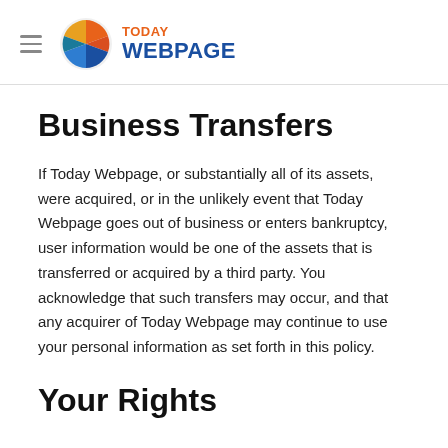TODAY WEBPAGE
Business Transfers
If Today Webpage, or substantially all of its assets, were acquired, or in the unlikely event that Today Webpage goes out of business or enters bankruptcy, user information would be one of the assets that is transferred or acquired by a third party. You acknowledge that such transfers may occur, and that any acquirer of Today Webpage may continue to use your personal information as set forth in this policy.
Your Rights